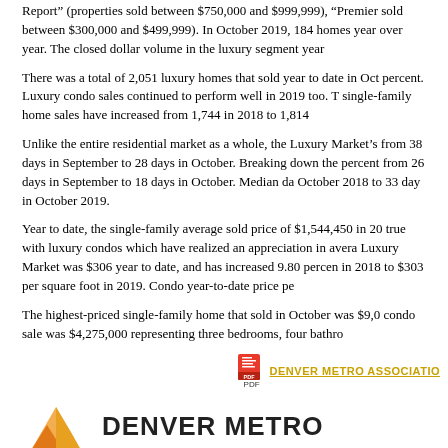Report” (properties sold between $750,000 and $999,999), “Premier sold between $300,000 and $499,999). In October 2019, 184 homes year over year. The closed dollar volume in the luxury segment year
There was a total of 2,051 luxury homes that sold year to date in Oct percent. Luxury condo sales continued to perform well in 2019 too. T single-family home sales have increased from 1,744 in 2018 to 1,814
Unlike the entire residential market as a whole, the Luxury Market’s from 38 days in September to 28 days in October. Breaking down the percent from 26 days in September to 18 days in October. Median da October 2018 to 33 day in October 2019.
Year to date, the single-family average sold price of $1,544,450 in 20 true with luxury condos which have realized an appreciation in avera Luxury Market was $306 year to date, and has increased 9.80 percen in 2018 to $303 per square foot in 2019. Condo year-to-date price pe
The highest-priced single-family home that sold in October was $9,0 condo sale was $4,275,000 representing three bedrooms, four bathro
[Figure (logo): Denver Metro Association PDF link with logo icon and text]
[Figure (logo): Denver Metro logo triangle icon and DENVER METRO text]